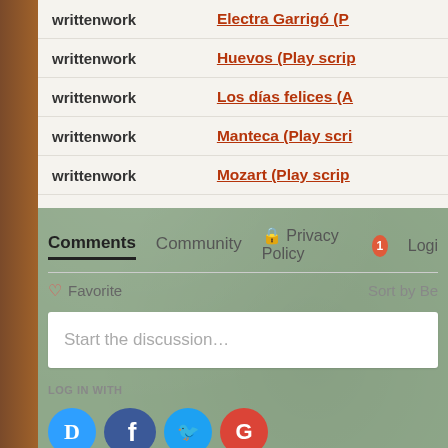| type | title |
| --- | --- |
| writtenwork | Electra Garrigó (P… |
| writtenwork | Huevos (Play scrip… |
| writtenwork | Los días felices (A… |
| writtenwork | Manteca (Play scri… |
| writtenwork | Mozart (Play scrip… |
Comments  Community  🔒 Privacy Policy  1  Logi…
♡ Favorite   Sort by Be…
Start the discussion…
LOG IN WITH
[Figure (infographic): Social login buttons: Disqus (D, blue), Facebook (f, dark blue), Twitter (bird icon, light blue), Google (G, red)]
OR SIGN UP WITH DISQUS ?